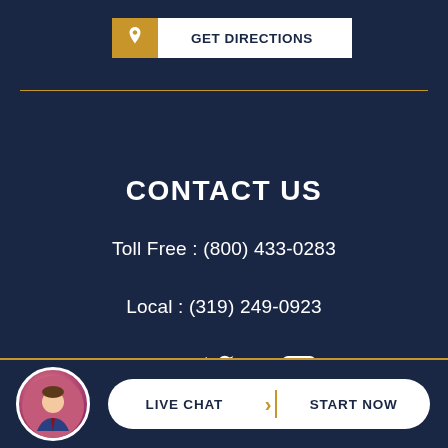[Figure (infographic): GET DIRECTIONS button with gold location pin icon on left and white text area on right]
CONTACT US
Toll Free : (800) 433-0283
Local : (319) 249-0923
[Figure (infographic): Social media icons: Facebook, Twitter, YouTube in white on dark navy background]
[Figure (infographic): LIVE CHAT | START NOW button with circular avatar photo of man on left, white pill-shaped button with gold divider]